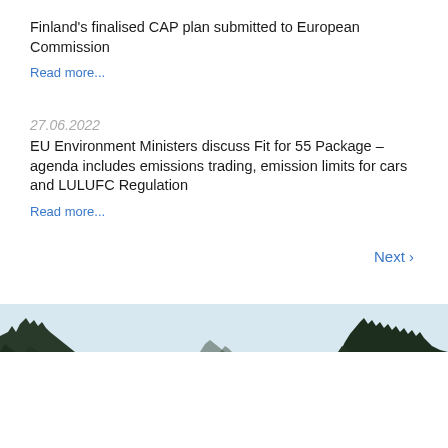Finland's finalised CAP plan submitted to European Commission
Read more...
27.06.2022
EU Environment Ministers discuss Fit for 55 Package – agenda includes emissions trading, emission limits for cars and LULUFC Regulation
Read more...
Next ›
[Figure (photo): Landscape photo showing a treeline silhouette against a light sky at the bottom of the page]